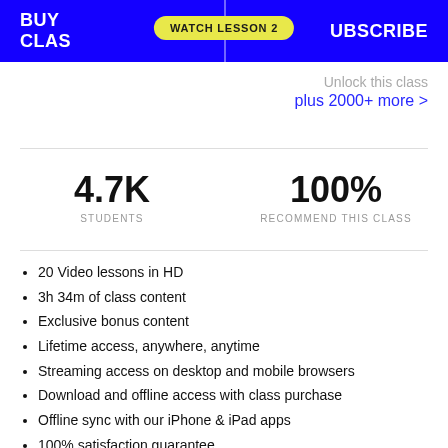[Figure (screenshot): Blue button bar with BUY CLASS on left and SUBSCRIBE on right, with a yellow WATCH LESSON 2 badge overlay in center]
Unlock this class
plus 2000+ more >
4.7K
STUDENTS
100%
RECOMMEND THIS CLASS
20 Video lessons in HD
3h 34m of class content
Exclusive bonus content
Lifetime access, anywhere, anytime
Streaming access on desktop and mobile browsers
Download and offline access with class purchase
Offline sync with our iPhone & iPad apps
100% satisfaction guarantee